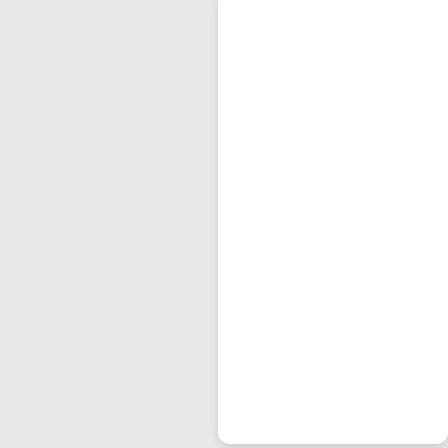[Figure (screenshot): Top portion of a product listing card (white background, partial view, cut off at bottom)]
[Figure (photo): Book cover for Honda S2000 Performance Portfolio 1999-2008, red cover with car image]
Honda S2000 Performance Po... 1999-2008
The S2000 was introd... 1999 to celebrate Hon... 50th anniversary and i... lates in their 'S' series... roadsters.
| Label | Value |
| --- | --- |
| Retail: | $70.95 |
| On Sale: | $66.95 |
| You Save: | 6% |
|  | Ships in 6-1... business d... |
| Stock | $0.05 ... |